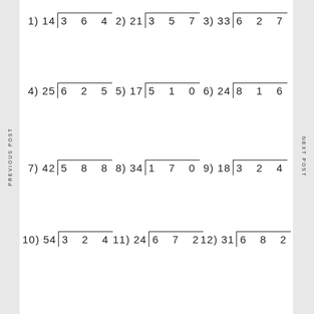1) 14 | 3 6 4
2) 21 | 3 5 7
3) 33 | 6 2 7
4) 25 | 6 2 5
5) 17 | 5 1 0
6) 24 | 8 1 6
7) 42 | 5 8 8
8) 34 | 1 7 0
9) 18 | 3 2 4
10) 54 | 3 2 4
11) 24 | 6 7 2
12) 31 | 6 8 2
PREVIOUS POST
NEXT POST